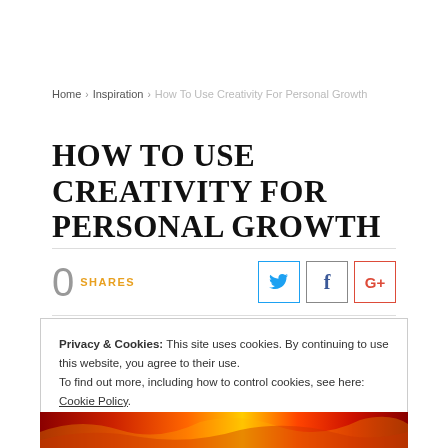Home > Inspiration > How To Use Creativity For Personal Growth
HOW TO USE CREATIVITY FOR PERSONAL GROWTH
0 SHARES
Privacy & Cookies: This site uses cookies. By continuing to use this website, you agree to their use.
To find out more, including how to control cookies, see here: Cookie Policy
Close and accept
[Figure (photo): Abstract fiery red and orange light streaks on dark background]